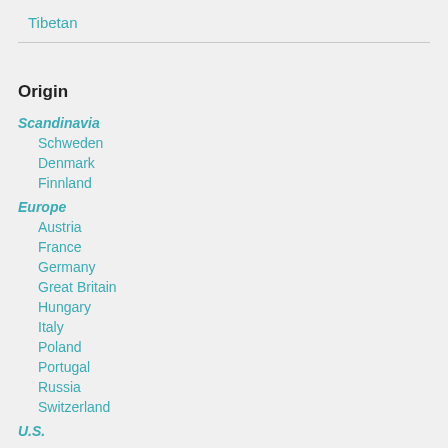Tibetan
Origin
Scandinavia
Schweden
Denmark
Finnland
Europe
Austria
France
Germany
Great Britain
Hungary
Italy
Poland
Portugal
Russia
Switzerland
U.S.